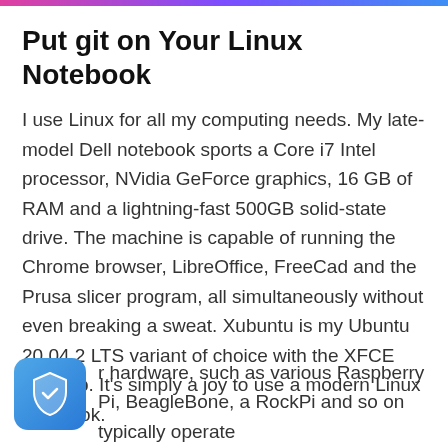Put git on Your Linux Notebook
I use Linux for all my computing needs. My late-model Dell notebook sports a Core i7 Intel processor, NVidia GeForce graphics, 16 GB of RAM and a lightning-fast 500GB solid-state drive. The machine is capable of running the Chrome browser, LibreOffice, FreeCad and the Prusa slicer program, all simultaneously without even breaking a sweat. Xubuntu is my Ubuntu 20.04.2 LTS variant of choice with the XFCE desktop. It’s simply a joy to use a modern Linux notebook.
r hardware, such as various Raspberry Pi, BeagleBone, a RockPi and so on typically operate